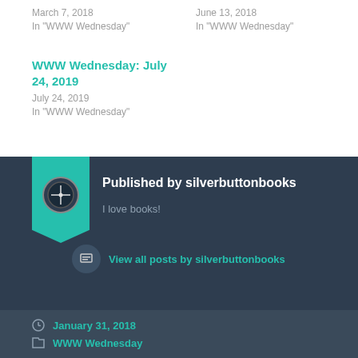March 7, 2018
In "WWW Wednesday"
June 13, 2018
In "WWW Wednesday"
WWW Wednesday: July 24, 2019
July 24, 2019
In "WWW Wednesday"
Published by silverbuttonbooks
I love books!
View all posts by silverbuttonbooks
January 31, 2018
WWW Wednesday